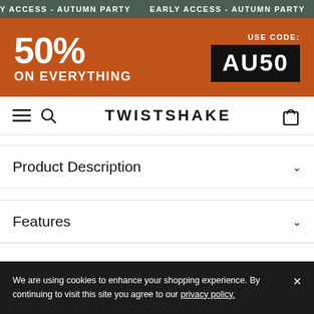Y ACCESS - AUTUMN PARTY   EARLY ACCESS - AUTUMN PARTY   EAR
[Figure (infographic): Orange promotional banner with '50% ON EVERYTHING' on the left and 'USE CODE: AU50' in a black box on the right]
TWISTSHAKE
Product Description
Features
Smart function and modern design
We are using cookies to enhance your shopping experience. By continuing to visit this site you agree to our privacy policy.